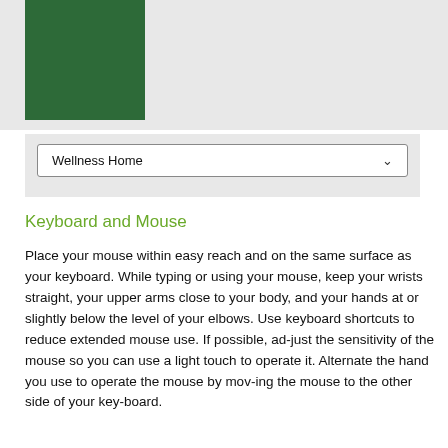[Figure (illustration): Dark green square logo/image in the upper left of a grey header bar]
Wellness Home
Keyboard and Mouse
Place your mouse within easy reach and on the same surface as your keyboard. While typing or using your mouse, keep your wrists straight, your upper arms close to your body, and your hands at or slightly below the level of your elbows. Use keyboard shortcuts to reduce extended mouse use. If possible, ad-just the sensitivity of the mouse so you can use a light touch to operate it. Alternate the hand you use to operate the mouse by mov-ing the mouse to the other side of your key-board.